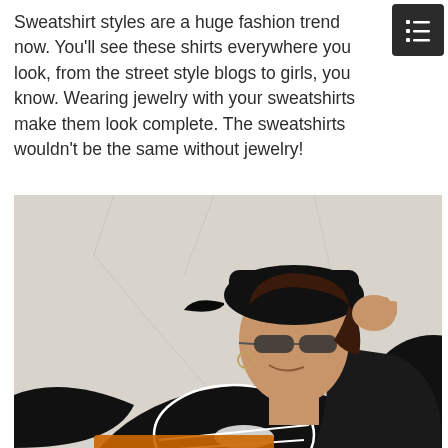Sweatshirt styles are a huge fashion trend now. You'll see these shirts everywhere you look, from the street style blogs to girls, you know. Wearing jewelry with your sweatshirts make them look complete. The sweatshirts wouldn't be the same without jewelry!
[Figure (photo): A woman wearing a black sweatshirt with a graphic print, black baseball cap, and sunglasses, smiling and touching her cap brim. Background is a white crackled wall. A large black circle is partially visible at the right edge.]